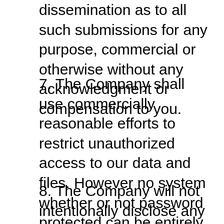dissemination as to all such submissions for any purpose, commercial or otherwise without any acknowledgment or compensation to you.
7. The Company shall use commercially reasonable efforts to restrict unauthorized access to our data and files. However no system whether or not password protected can be entirely impenetrable. You acknowledge that it may be possible for an unauthorized third party to access, view, copy, modify, or distribute the data and files you store using the Site. Use of the Site is completely at your own risk.
8. The Company will not intentionally disclose any personally identifying information about you to third parties, except where the Company, in good faith, believes such